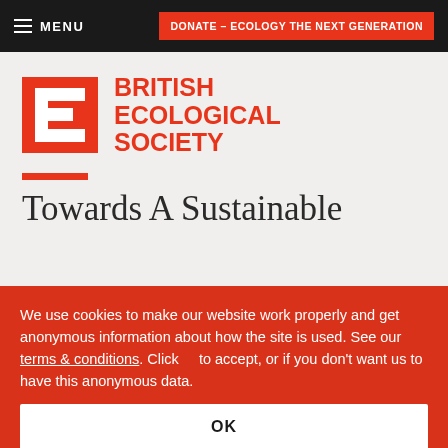MENU | DONATE – ECOLOGY THE NEXT GENERATION
[Figure (logo): British Ecological Society logo — red stylised 'E' letterform with the text BRITISH ECOLOGICAL SOCIETY in red bold capitals]
Towards A Sustainable
We use cookies to make our website work properly and get anonymous information about how the site is used. See our terms & conditions. Click to accept, or if you don't want us to have this anonymous data.
OK
Essential cookies